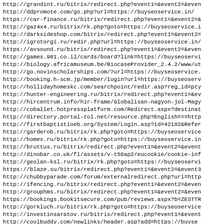http://grandint.ru/bitrix/redirect.php?event1=&event2=&even
http://ddpromote.com/go.php?url=https://buyseoservice.in/
https://car-finance.ru/bitrix/redirect.php?event1=&event2=&
http://gaz4x4.ru/bitrix/rk.php?goto=https://buyseoservice.i
http://darksideshop.com/bitrix/redirect.php?event1=&event2=
http://igrotorgi.ru/redir.php?url=https://buyseoservice.in/
https://avsound.ru/bitrix/redirect.php?event1=&event2=&even
http://games.901.co.il/cards/board?link=https://buyseoservi
http://biology.africamuseum.be/BiocaseProvider_2.4.2/www/ut
http://go.novinscholarships.com/?url=https://buyseoservice.
http://booking.h-scm.jp/member/login?url=https://buyseoserv
http://hollidayhomeskc.com/searchpoint/redir.asp?reg_id=pty
http://hunter-engineering.ru/bitrix/redirect.php?event1=&ev
http://hircentrum.info/hir-frame/Globalisan-nagyon-jol-Magy
http://coballet.hotpressplatform.com/Redirect.aspx?destinat
http://directory.portal-tol.net/resource.php?English===http
http://firstbaptistloeb.org/System/Login.asp?id=42182&Refer
http://garderob.ru/bitrix/rk.php?goto=https://buyseoservice
http://homex.ru/bitrix/rk.php?goto=https://buyseoservice.in
http://bruttus.ru/bitrix/redirect.php?event1=&event2=&event
http://dinobar.co.uk/fl/assets/v-t56ap2/eucookie/cookie-inf
http://geolan-ksl.ru/bitrix/rk.php?goto=https://buyseoservi
https://blaze.su/bitrix/redirect.php?event1=&event2=&event3
http://chubbyparade.com/forum/externalredirect.php?url=http
http://ifencing.ru/bitrix/redirect.php?event1=&event2=&even
http://grouphms.ru/bitrix/redirect.php?event1=&event2=&even
https://bookings.bookitsecure.com/pub/reviews.aspx?b=ZESTTR
http://gorkluch.ru/bitrix/rk.php?goto=https://buyseoservice
http://investinsaratov.ru/bitrix/redirect.php?event1=&event
http://coolbuddy.com/newlinks/header.asp?add=https://buyse